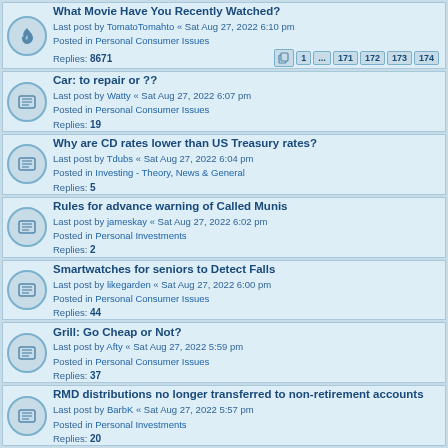What Movie Have You Recently Watched? Last post by TomatoTomahto « Sat Aug 27, 2022 6:10 pm Posted in Personal Consumer Issues Replies: 8671
Car: to repair or ?? Last post by Watty « Sat Aug 27, 2022 6:07 pm Posted in Personal Consumer Issues Replies: 19
Why are CD rates lower than US Treasury rates? Last post by Tdubs « Sat Aug 27, 2022 6:04 pm Posted in Investing - Theory, News & General Replies: 5
Rules for advance warning of Called Munis Last post by jameskay « Sat Aug 27, 2022 6:02 pm Posted in Personal Investments Replies: 2
Smartwatches for seniors to Detect Falls Last post by likegarden « Sat Aug 27, 2022 6:00 pm Posted in Personal Consumer Issues Replies: 44
Grill: Go Cheap or Not? Last post by Afty « Sat Aug 27, 2022 5:59 pm Posted in Personal Consumer Issues Replies: 37
RMD distributions no longer transferred to non-retirement accounts Last post by BarbK « Sat Aug 27, 2022 5:57 pm Posted in Personal Investments Replies: 20